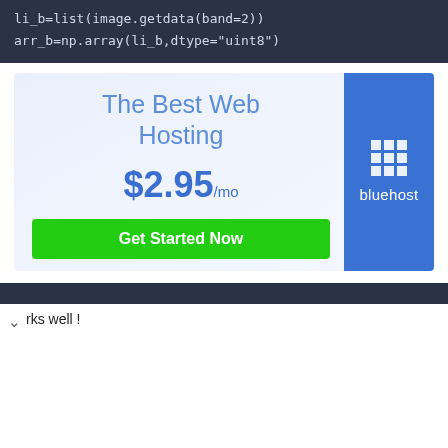li_b=list(image.getdata(band=2))
arr_b=np.array(li_b,dtype="uint8")
[Figure (screenshot): Bluehost web hosting advertisement banner showing 'The Best Web Hosting' at $2.95/mo with a 'Get Started Now' green button and Bluehost logo on blue background]
rks well !